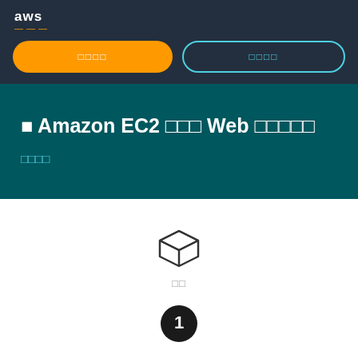[Figure (logo): AWS logo with orange arrow/smile in dark navy header bar]
[Figure (other): Two buttons: orange filled pill button with Japanese text, and teal outlined pill button with Japanese text]
■ Amazon EC2 □□□ Web □□□□□
□□□□
[Figure (illustration): 3D box/cube icon (package icon) above Japanese label text '□□']
[Figure (illustration): Black circle with white number 1 inside (step indicator)]